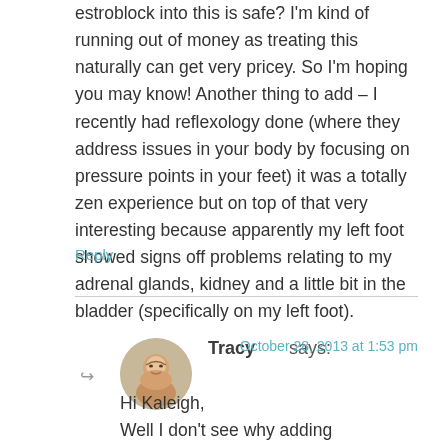estroblock into this is safe? I'm kind of running out of money as treating this naturally can get very pricey. So I'm hoping you may know! Another thing to add – I recently had reflexology done (where they address issues in your body by focusing on pressure points in your feet) it was a totally zen experience but on top of that very interesting because apparently my left foot showed signs off problems relating to my adrenal glands, kidney and a little bit in the bladder (specifically on my left foot).
Reply
[Figure (photo): Circular avatar photo of commenter Tracy, showing a woman with short blonde/grey hair]
Tracy says:
October 28, 2013 at 1:53 pm
Hi Kaleigh,
Well I don't see why adding Estroblock would be a problem… as far as I know, it doesn't react with anything else, but I can't guarantee it. Did the naturopath put you on ALL of those supplements? That